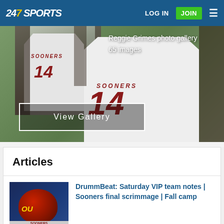247 SPORTS | LOG IN | JOIN
[Figure (photo): Photo gallery of Reggie Grimes in Oklahoma Sooners #14 jersey, two images side by side with a View Gallery button overlay]
Reggie Grimes photo gallery
65 images
Articles
DrummBeat: Saturday VIP team notes | Sooners final scrimmage | Fall camp